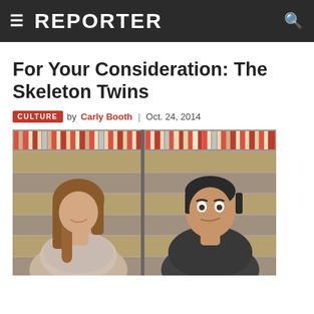REPORTER
For Your Consideration: The Skeleton Twins
CULTURE by Carly Booth | Oct. 24, 2014
[Figure (photo): Two actors — a woman with long brown hair looking down and smiling, and a man with dark hair looking up with a slight smirk — photographed in front of bookshelves filled with binders/files. The image is split into two halves side by side.]